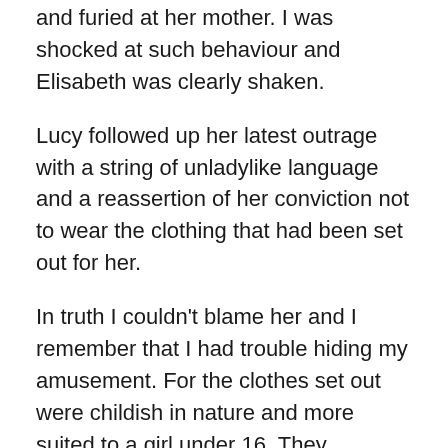and furied at her mother. I was shocked at such behaviour and Elisabeth was clearly shaken.
Lucy followed up her latest outrage with a string of unladylike language and a reassertion of her conviction not to wear the clothing that had been set out for her.
In truth I couldn't blame her and I remember that I had trouble hiding my amusement. For the clothes set out were childish in nature and more suited to a girl under 16. They consisted of a knee-length skirt in blue with a sailor-style collar that was large and showy beyond the vogue of the time even for older nursery-aged girls. There were also buckled shoes, white lacy petticoats and blue hair ribbons.
“I won’t wear it, I won’t, I won’t,” Lucy continued with her outburst.
However, I must admit that she had a point and I...